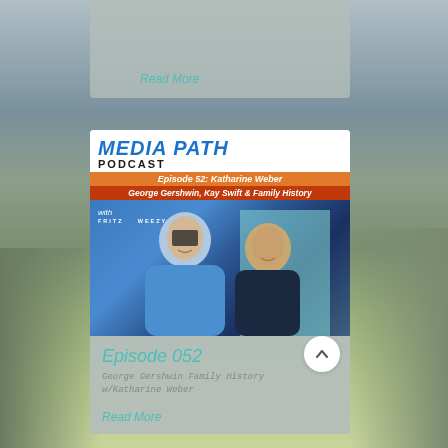Read More
[Figure (screenshot): Media Path Podcast cover art for Episode 52 featuring Katharine Weber about George Gershwin, Kay Swift and Family History, with photo of two podcast hosts Fritz and Weezy]
Episode 052
George Gershwin Family History w/Katharine Weber
Read More